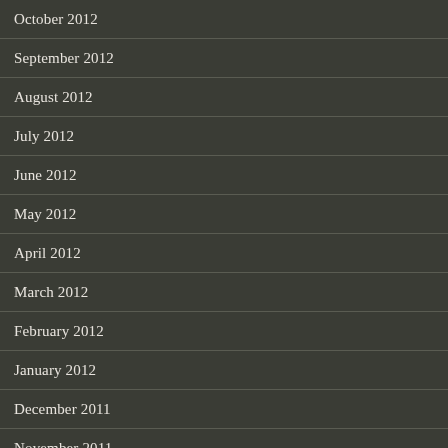October 2012
September 2012
August 2012
July 2012
June 2012
May 2012
April 2012
March 2012
February 2012
January 2012
December 2011
November 2011
October 2011